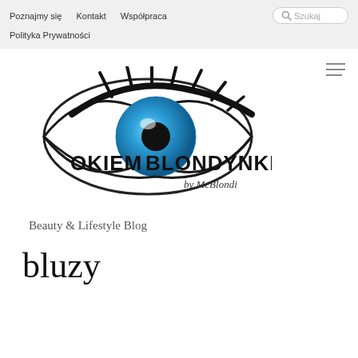Poznajmy się  Kontakt  Współpraca  Polityka Prywatności
[Figure (logo): Okiem Blondynki by McBlondi — eye logo with text, Beauty & Lifestyle Blog]
Beauty & Lifestyle Blog
bluzy